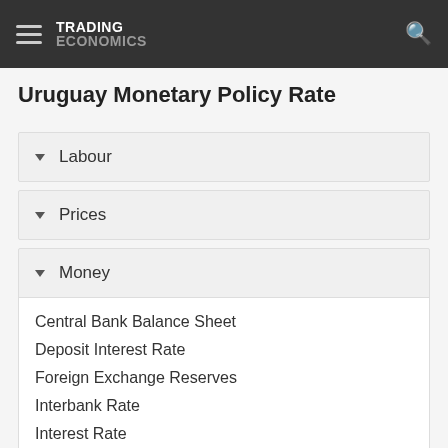TRADING ECONOMICS
Uruguay Monetary Policy Rate
Labour
Prices
Money
Central Bank Balance Sheet
Deposit Interest Rate
Foreign Exchange Reserves
Interbank Rate
Interest Rate
Loans To Private Sector
Money Supply M0
Money Supply M1
Money Supply M2